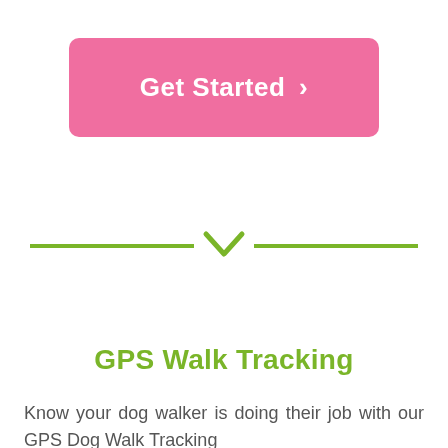[Figure (other): Pink rounded rectangle button with white bold text 'Get Started ›']
[Figure (other): Green horizontal divider lines flanking a green downward chevron / checkmark symbol]
GPS Walk Tracking
Know your dog walker is doing their job with our GPS Dog Walk Tracking